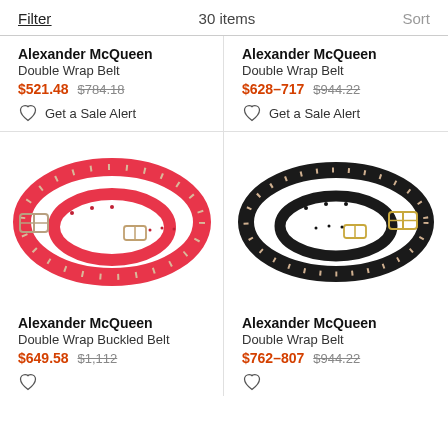Filter   30 items   Sort
Alexander McQueen
Double Wrap Belt
$521.48 $784.18
Get a Sale Alert
Alexander McQueen
Double Wrap Belt
$628–717 $944.22
Get a Sale Alert
[Figure (photo): Red Alexander McQueen Double Wrap Buckled Belt coiled in a circle]
[Figure (photo): Black Alexander McQueen Double Wrap Belt coiled in a circle]
Alexander McQueen
Double Wrap Buckled Belt
$649.58 $1,112
Get a Sale Alert
Alexander McQueen
Double Wrap Belt
$762–807 $944.22
Get a Sale Alert